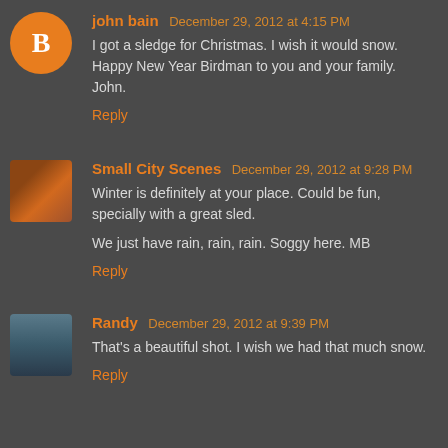john bain December 29, 2012 at 4:15 PM
I got a sledge for Christmas. I wish it would snow. Happy New Year Birdman to you and your family. John.
Reply
Small City Scenes December 29, 2012 at 9:28 PM
Winter is definitely at your place. Could be fun, specially with a great sled.

We just have rain, rain, rain. Soggy here. MB
Reply
Randy December 29, 2012 at 9:39 PM
That's a beautiful shot. I wish we had that much snow.
Reply